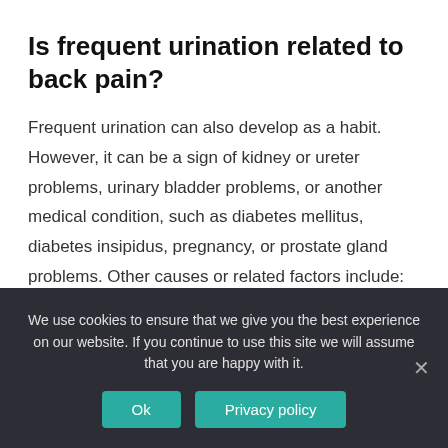Is frequent urination related to back pain?
Frequent urination can also develop as a habit. However, it can be a sign of kidney or ureter problems, urinary bladder problems, or another medical condition, such as diabetes mellitus, diabetes insipidus, pregnancy, or prostate gland problems. Other causes or related factors include: anxiety.
What is considered excessive urination?
We use cookies to ensure that we give you the best experience on our website. If you continue to use this site we will assume that you are happy with it.